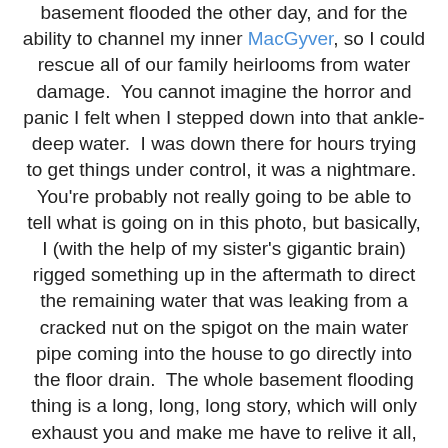basement flooded the other day, and for the ability to channel my inner MacGyver, so I could rescue all of our family heirlooms from water damage.  You cannot imagine the horror and panic I felt when I stepped down into that ankle-deep water.  I was down there for hours trying to get things under control, it was a nightmare.  You're probably not really going to be able to tell what is going on in this photo, but basically, I (with the help of my sister's gigantic brain) rigged something up in the aftermath to direct the remaining water that was leaking from a cracked nut on the spigot on the main water pipe coming into the house to go directly into the floor drain.  The whole basement flooding thing is a long, long, long story, which will only exhaust you and make me have to relive it all, so let me just say…  A funnel, a hose, a half-full can of paint and two lasagna pans walked into a bar…